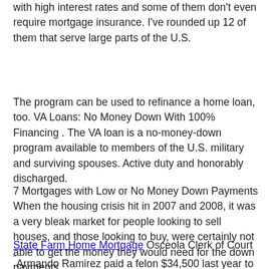with high interest rates and some of them don't even require mortgage insurance. I've rounded up 12 of them that serve large parts of the U.S.
The program can be used to refinance a home loan, too. VA Loans: No Money Down With 100% Financing . The VA loan is a no-money-down program available to members of the U.S. military and surviving spouses. Active duty and honorably discharged.
7 Mortgages with Low or No Money Down Payments When the housing crisis hit in 2007 and 2008, it was a very bleak market for people looking to sell houses, and those looking to buy, were certainly not able to get the money they would need for the down payments.
State Farm Home Mortgage Osceola Clerk of Court ^ Armando Ramirez paid a felon $34,500 last year to find